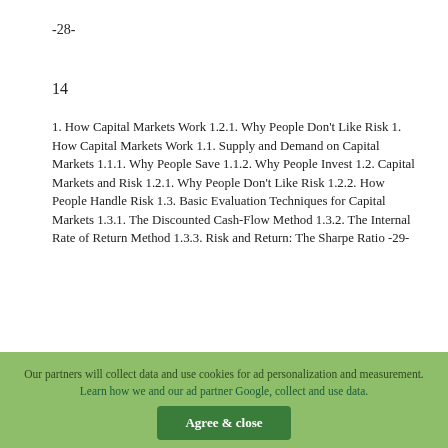-28-
14
1. How Capital Markets Work 1.2.1. Why People Don't Like Risk 1. How Capital Markets Work 1.1. Supply and Demand on Capital Markets 1.1.1. Why People Save 1.1.2. Why People Invest 1.2. Capital Markets and Risk 1.2.1. Why People Don't Like Risk 1.2.2. How People Handle Risk 1.3. Basic Evaluation Techniques for Capital Markets 1.3.1. The Discounted Cash-Flow Method 1.3.2. The Internal Rate of Return Method 1.3.3. Risk and Return: The Sharpe Ratio -29-
Prof. Dr. Rainer Maurer
1. How Capital Markets Work 1.2.1. Why People Don't Like Risk ➤ Do you like risk? ➤ Experiment I: What do you take (a) or (b)?
Our partners will collect data and use cookies for ad personalization and measurement. Learn how we and our ad partner Google, collect and use data.  Agree & close